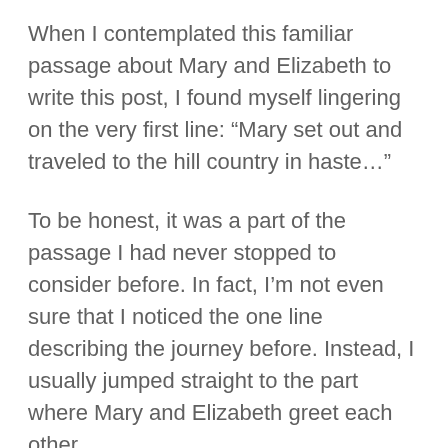When I contemplated this familiar passage about Mary and Elizabeth to write this post, I found myself lingering on the very first line: “Mary set out and traveled to the hill country in haste…”
To be honest, it was a part of the passage I had never stopped to consider before. In fact, I’m not even sure that I noticed the one line describing the journey before. Instead, I usually jumped straight to the part where Mary and Elizabeth greet each other.
This time, however, I felt compelled to stop after the first line and consider what Mary must have been feeling along the journey to see Elizabeth. Only one line captured a